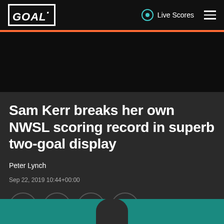GOAL · Live Scores
[Figure (photo): Dark background image area below nav bar]
Sam Kerr breaks her own NWSL scoring record in superb two-goal display
Peter Lynch
Sep 22, 2019 10:44+00:00
[Figure (infographic): Social sharing icons row: link, Facebook, Twitter, Reddit; comment count: 0]
[Figure (photo): Bottom strip showing top of person's head against teal/green background]